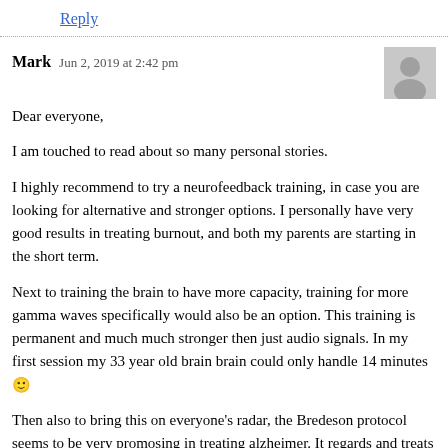Reply
Mark  Jun 2, 2019 at 2:42 pm
Dear everyone,

I am touched to read about so many personal stories.

I highly recommend to try a neurofeedback training, in case you are looking for alternative and stronger options. I personally have very good results in treating burnout, and both my parents are starting in the short term.

Next to training the brain to have more capacity, training for more gamma waves specifically would also be an option. This training is permanent and much much stronger then just audio signals. In my first session my 33 year old brain brain could only handle 14 minutes 🙂

Then also to bring this on everyone's radar, the Bredeson protocol seems to be very promosing in treating alzheimer. It regards and treats